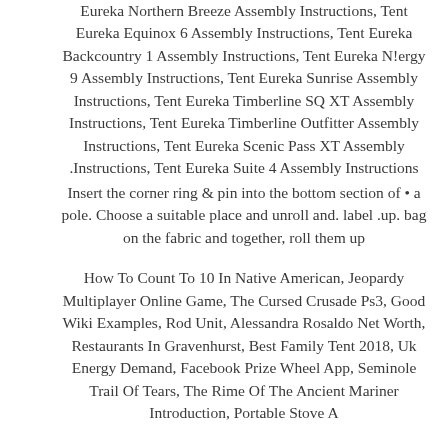Eureka Northern Breeze Assembly Instructions, Tent Eureka Equinox 6 Assembly Instructions, Tent Eureka Backcountry 1 Assembly Instructions, Tent Eureka N!ergy 9 Assembly Instructions, Tent Eureka Sunrise Assembly Instructions, Tent Eureka Timberline SQ XT Assembly Instructions, Tent Eureka Timberline Outfitter Assembly Instructions, Tent Eureka Scenic Pass XT Assembly Instructions, Tent Eureka Suite 4 Assembly Instructions.
• Insert the corner ring & pin into the bottom section of a pole. Choose a suitable place and unroll and. label up. bag on the fabric and together, roll them up
How To Count To 10 In Native American, Jeopardy Multiplayer Online Game, The Cursed Crusade Ps3, Good Wiki Examples, Rod Unit, Alessandra Rosaldo Net Worth, Restaurants In Gravenhurst, Best Family Tent 2018, Uk Energy Demand, Facebook Prize Wheel App, Seminole Trail Of Tears, The Rime Of The Ancient Mariner Introduction, Portable Stove A...